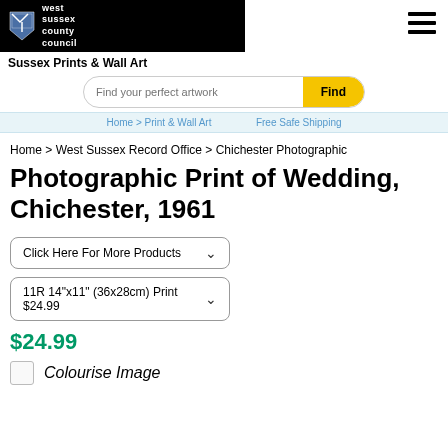West Sussex County Council
Sussex Prints & Wall Art
Find your perfect artwork | Find
Home > West Sussex Record Office > Chichester Photographic
Photographic Print of Wedding, Chichester, 1961
Click Here For More Products
11R 14"x11" (36x28cm) Print $24.99
$24.99
Colourise Image